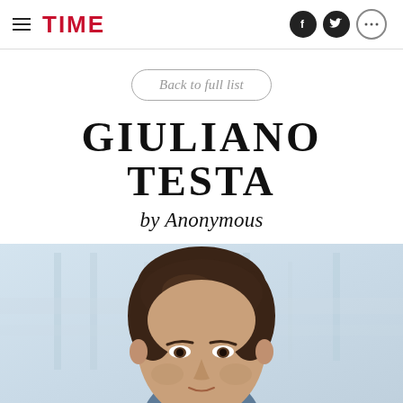TIME
Back to full list
GIULIANO TESTA
by Anonymous
[Figure (photo): Portrait photo of Giuliano Testa, a man with dark brown hair, looking slightly downward, in a light blue/blurred background office setting.]